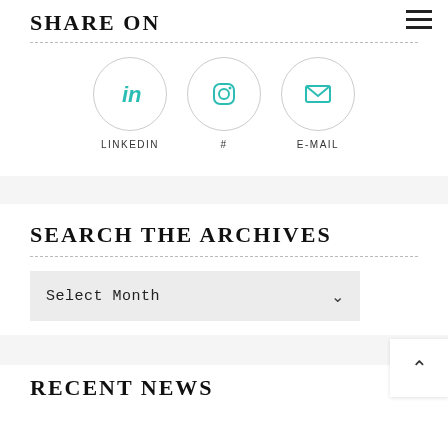SHARE ON
[Figure (infographic): Three social sharing icons in circles: LinkedIn (in icon), # (Instagram icon), E-MAIL (envelope icon), each labeled below]
SEARCH THE ARCHIVES
Select Month
RECENT NEWS